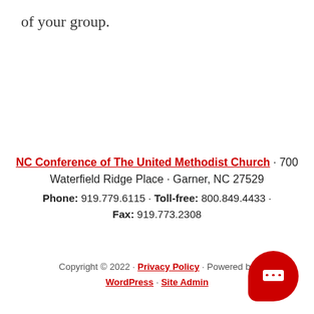of your group.
NC Conference of The United Methodist Church · 700 Waterfield Ridge Place · Garner, NC 27529
Phone: 919.779.6115 · Toll-free: 800.849.4433 · Fax: 919.773.2308
Copyright © 2022 · Privacy Policy · Powered by WordPress · Site Admin